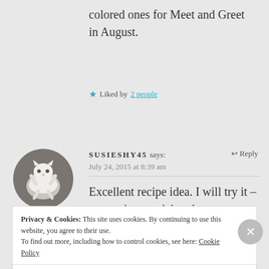colored ones for Meet and Greet in August.
Liked by 2 people
[Figure (photo): Circular avatar photo of a white cat lying on its back on a dark surface]
SUSIESHY45 says: July 24, 2015 at 8:39 am
Reply
Excellent recipe idea. I will try it – any recipe or trick to keep corn from popping out of the dish and all over?
Privacy & Cookies: This site uses cookies. By continuing to use this website, you agree to their use.
To find out more, including how to control cookies, see here: Cookie Policy
Close and accept